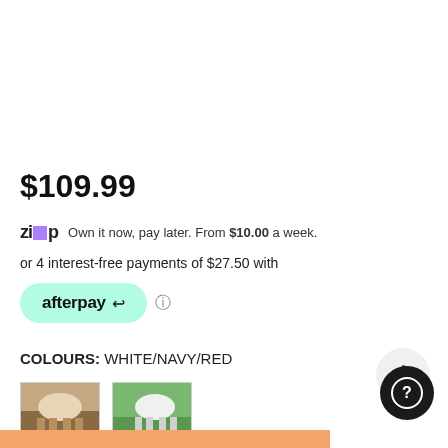$109.99
zip  Own it now, pay later. From $10.00 a week.
or 4 interest-free payments of $27.50 with
[Figure (logo): Afterpay logo badge in mint green with afterpay arrow icon]
COLOURS: WHITE/NAVY/RED
[Figure (photo): Two thumbnail images of horses wearing white rugs]
TOP